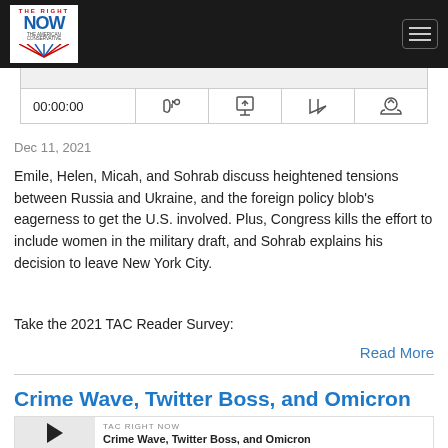TAC Right Now (logo) navigation header
00:00:00 (audio player controls)
Dec 11, 2021
Emile, Helen, Micah, and Sohrab discuss heightened tensions between Russia and Ukraine, and the foreign policy blob's eagerness to get the U.S. involved. Plus, Congress kills the effort to include women in the military draft, and Sohrab explains his decision to leave New York City.
Take the 2021 TAC Reader Survey:
Read More
Crime Wave, Twitter Boss, and Omicron
TAC RIGHT NOW
Crime Wave, Twitter Boss, and Omicron